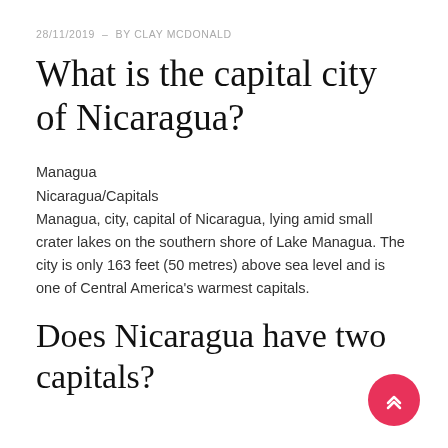28/11/2019  -  BY CLAY MCDONALD
What is the capital city of Nicaragua?
Managua
Nicaragua/Capitals
Managua, city, capital of Nicaragua, lying amid small crater lakes on the southern shore of Lake Managua. The city is only 163 feet (50 metres) above sea level and is one of Central America's warmest capitals.
Does Nicaragua have two capitals?